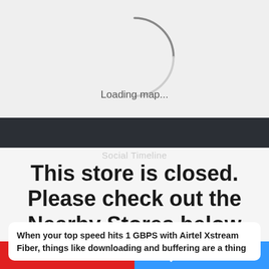[Figure (screenshot): Map loading spinner with partial arc on light gray background]
Loading map...
Social Timeline
This store is closed. Please check out the Nearby Stores below
When your top speed hits 1 GBPS with Airtel Xstream Fiber, things like downloading and buffering are a thing
Call
Directions